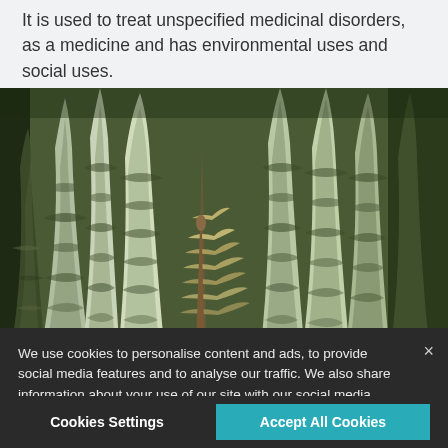It is used to treat unspecified medicinal disorders, as a medicine and has environmental uses and social uses.
[Figure (photo): Close-up photograph of snake plant (Sansevieria) leaves with mottled green and white/grey pattern, with a flowering spike in the center]
We use cookies to personalise content and ads, to provide social media features and to analyse our traffic. We also share information about your use of our site with our social media, advertising and analytics partners Cookie Policy
Cookies Settings
Accept All Cookies